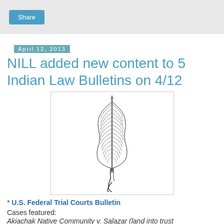Share
NILL added new content to 5 Indian Law Bulletins on 4/12
[Figure (illustration): Black and white illustration of a Native American feather quill with decorative wrapping and a curved tip at the bottom.]
* U.S. Federal Trial Courts Bulletin
Cases featured:
Akiachak Native Community v. Salazar (land into trust